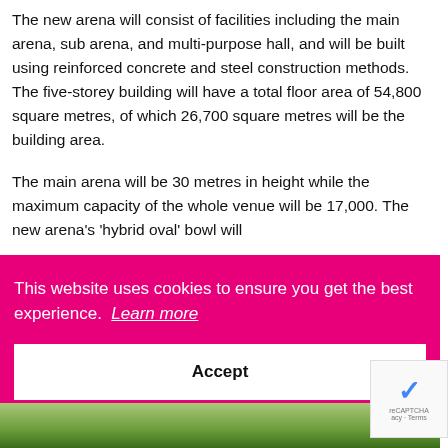The new arena will consist of facilities including the main arena, sub arena, and multi-purpose hall, and will be built using reinforced concrete and steel construction methods. The five-storey building will have a total floor area of 54,800 square metres, of which 26,700 square metres will be the building area.
The main arena will be 30 metres in height while the maximum capacity of the whole venue will be 17,000. The new arena's 'hybrid oval' bowl will...
[Figure (screenshot): Cookie consent overlay banner in magenta/hot-pink background with white text reading 'This website uses cookies to ensure you get the best experience. Learn more' and a white Accept button below.]
[Figure (photo): Strip of a photo showing trees/foliage at the bottom of the page.]